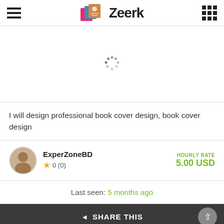[Figure (logo): Zeerk logo with hamburger menu and grid icon in header]
[Figure (other): Loading spinner (dots in circular arrangement) on white background]
I will design professional book cover design, book cover design
ExperZoneBD
★ 0 (0)
HOURLY RATE
5.00 USD
Last seen: 5 months ago
◄ SHARE THIS